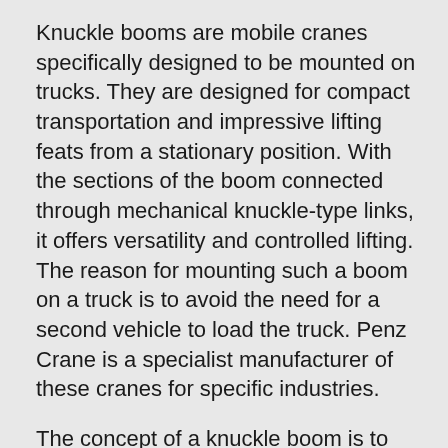Knuckle booms are mobile cranes specifically designed to be mounted on trucks. They are designed for compact transportation and impressive lifting feats from a stationary position. With the sections of the boom connected through mechanical knuckle-type links, it offers versatility and controlled lifting. The reason for mounting such a boom on a truck is to avoid the need for a second vehicle to load the truck. Penz Crane is a specialist manufacturer of these cranes for specific industries.
The concept of a knuckle boom is to simulate the movement of a human finger, where the pivot point is at the base of the boom as opposed to the centre. Therefore, these booms do not have a pendulum effect where one side needs to outweigh the other to achieve lift. Being mounted at the base, the boom is allowed freedom of movement for versatile lifting